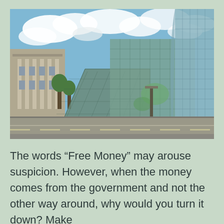[Figure (photo): Street-level photograph of modern glass office buildings with angular reflective facades and a classic stone building visible to the left, under a blue sky with white clouds. A road runs in the foreground.]
The words “Free Money” may arouse suspicion. However, when the money comes from the government and not the other way around, why would you turn it down? Make